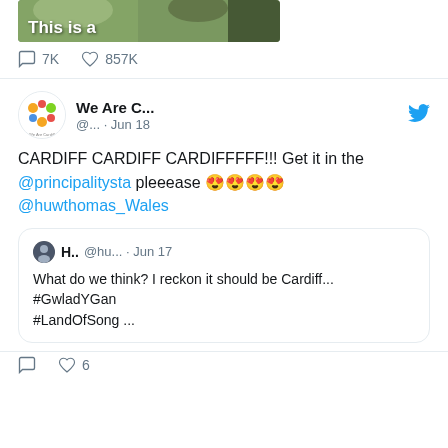[Figure (photo): Partial image of animals in a field with white text overlay reading 'This is a']
7K  857K
We Are C... @... · Jun 18
CARDIFF CARDIFF CARDIFFFFFF!!! Get it in the @principalitysta pleeease 😍😍😍😍 @huwthomas_Wales
H.. @hu... · Jun 17
What do we think? I reckon it should be Cardiff...
#GwladYGan
#LandOfSong ...
6